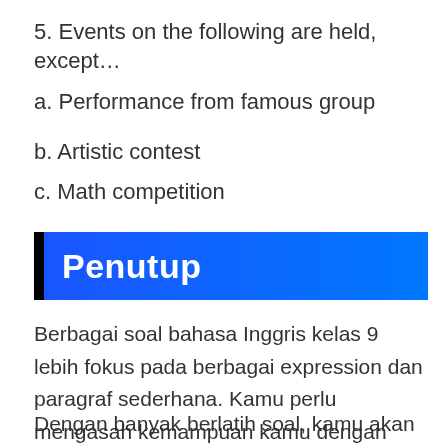5. Events on the following are held, except…
a. Performance from famous group
b. Artistic contest
c. Math competition
Penutup
Berbagai soal bahasa Inggris kelas 9 lebih fokus pada berbagai expression dan paragraf sederhana. Kamu perlu mengasah kemampuan kamu dengan membuat procedure text dan announcement text.
Dengan banyak berlatih soal, kamu akan bisa mengenal kesalahan dalam membuat dan